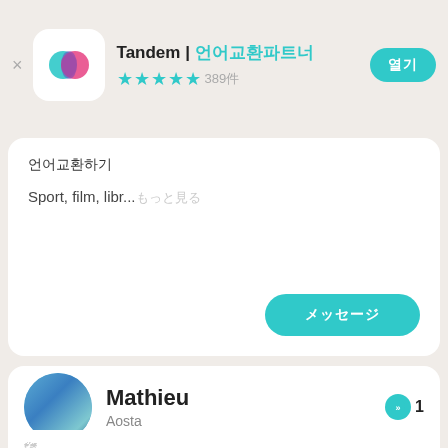[Figure (screenshot): Tandem app header with app icon (cyan and pink overlapping speech bubbles), app name 'Tandem | 언어교환파트너', star rating 4.5 stars with 389件, and a teal install button]
언어교환하기
Sport, film, libr...もっと見る
[Figure (screenshot): Teal rounded button with Japanese text]
[Figure (photo): Profile photo of Mathieu from Aosta with circular avatar showing person with sunglasses and a cat, message count badge showing 1]
Mathieu
Aosta
🗺
🇫🇷 母語　🇺🇸 流暢